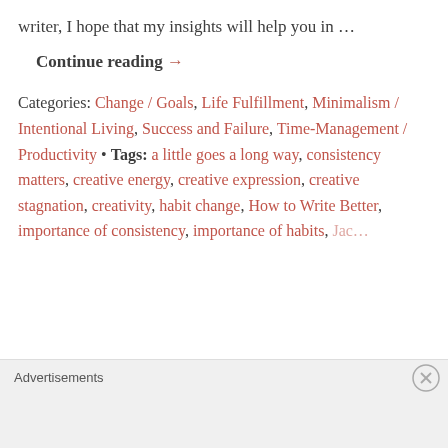writer, I hope that my insights will help you in …
Continue reading →
Categories: Change / Goals, Life Fulfillment, Minimalism / Intentional Living, Success and Failure, Time-Management / Productivity • Tags: a little goes a long way, consistency matters, creative energy, creative expression, creative stagnation, creativity, habit change, How to Write Better, importance of consistency, importance of habits, …
Advertisements